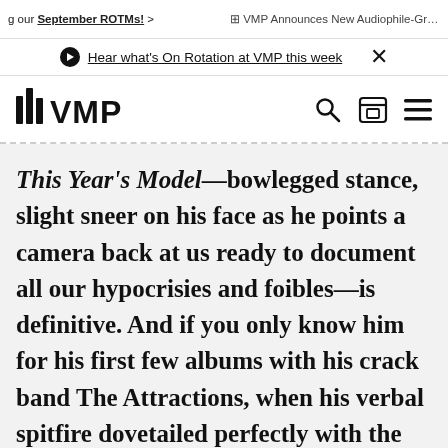g our September ROTMs! > VMP Announces New Audiophile-Grade V
Hear what's On Rotation at VMP this week  X
VMP logo with search, cart, and menu icons
This Year's Model—bowlegged stance, slight sneer on his face as he points a camera back at us ready to document all our hypocrisies and foibles—is definitive. And if you only know him for his first few albums with his crack band The Attractions, when his verbal spitfire dovetailed perfectly with the band's